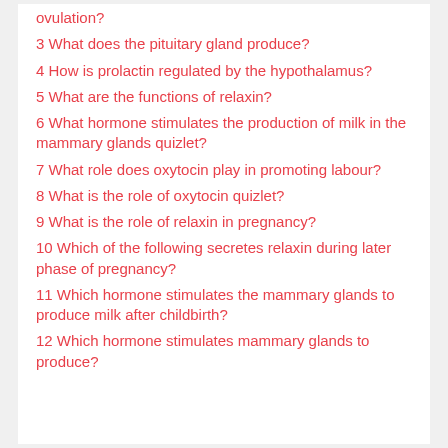ovulation?
3 What does the pituitary gland produce?
4 How is prolactin regulated by the hypothalamus?
5 What are the functions of relaxin?
6 What hormone stimulates the production of milk in the mammary glands quizlet?
7 What role does oxytocin play in promoting labour?
8 What is the role of oxytocin quizlet?
9 What is the role of relaxin in pregnancy?
10 Which of the following secretes relaxin during later phase of pregnancy?
11 Which hormone stimulates the mammary glands to produce milk after childbirth?
12 Which hormone stimulates mammary glands to produce?